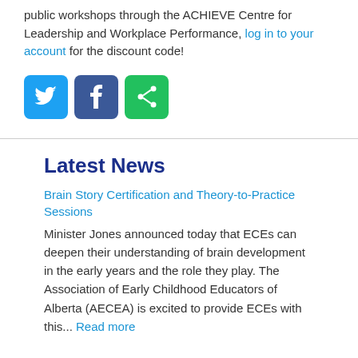public workshops through the ACHIEVE Centre for Leadership and Workplace Performance, log in to your account for the discount code!
[Figure (other): Social sharing icons: Twitter (blue), Facebook (dark blue), Share (green)]
Latest News
Brain Story Certification and Theory-to-Practice Sessions
Minister Jones announced today that ECEs can deepen their understanding of brain development in the early years and the role they play. The Association of Early Childhood Educators of Alberta (AECEA) is excited to provide ECEs with this... Read more